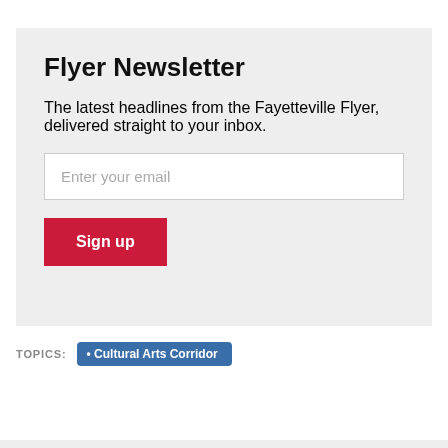Flyer Newsletter
The latest headlines from the Fayetteville Flyer, delivered straight to your inbox.
Enter your email
Sign up
TOPICS:
Cultural Arts Corridor
MORE FROM THE FLYER